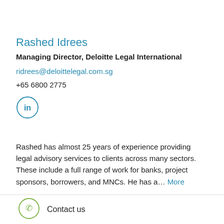Rashed Idrees
Managing Director, Deloitte Legal International
ridrees@deloittelegal.com.sg
+65 6800 2775
[Figure (logo): LinkedIn icon — circle with 'in' text]
Rashed has almost 25 years of experience providing legal advisory services to clients across many sectors. These include a full range of work for banks, project sponsors, borrowers, and MNCs. He has a... More
Contact us